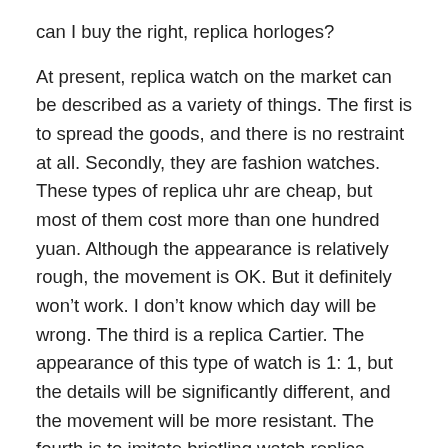can I buy the right, replica horloges?
At present, replica watch on the market can be described as a variety of things. The first is to spread the goods, and there is no restraint at all. Secondly, they are fashion watches. These types of replica uhr are cheap, but most of them cost more than one hundred yuan. Although the appearance is relatively rough, the movement is OK. But it definitely won’t work. I don’t know which day will be wrong. The third is a replica Cartier. The appearance of this type of watch is 1: 1, but the details will be significantly different, and the movement will be more resistant. The fourth is to imitate brietling watch replica.
This type of watch uses a genuine watch to open the mold, and the research details are in place. The movement uses a domestic seagull or Shanghai’s relatively high-end movement. Some classic replica diamond watches styles can reach the counter to the extent that it is fake. A few manufacturers that produce this type of watch don’t say much. Everyone can find